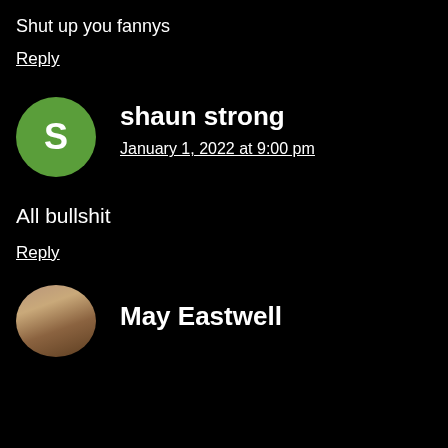Shut up you fannys
Reply
[Figure (other): Green circle avatar with letter S for user shaun strong]
shaun strong
January 1, 2022 at 9:00 pm
All bullshit
Reply
[Figure (photo): Circular photo avatar of May Eastwell showing a person with brown/reddish hair]
May Eastwell